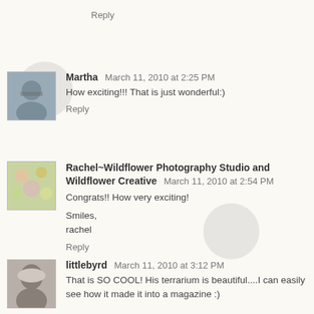Reply
Martha  March 11, 2010 at 2:25 PM
How exciting!!! That is just wonderful:)
Reply
Rachel~Wildflower Photography Studio and Wildflower Creative  March 11, 2010 at 2:54 PM
Congrats!! How very exciting!

Smiles,
rachel
Reply
littlebyrd  March 11, 2010 at 3:12 PM
That is SO COOL! His terrarium is beautiful....I can easily see how it made it into a magazine :)